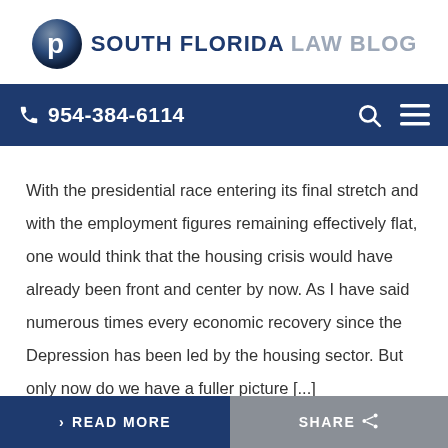[Figure (logo): South Florida Law Blog logo with a dark blue circular icon with letter P and the text SOUTH FLORIDA LAW BLOG]
☎ 954-384-6114
With the presidential race entering its final stretch and with the employment figures remaining effectively flat, one would think that the housing crisis would have already been front and center by now. As I have said numerous times every economic recovery since the Depression has been led by the housing sector. But only now do we have a fuller picture [...]